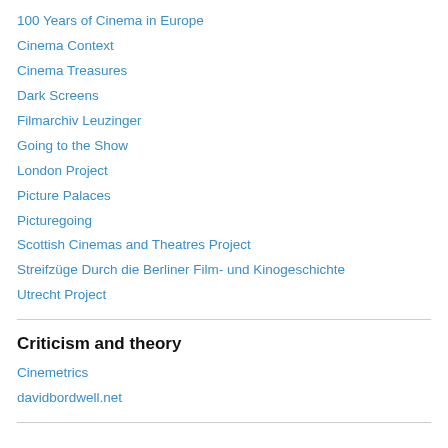100 Years of Cinema in Europe
Cinema Context
Cinema Treasures
Dark Screens
Filmarchiv Leuzinger
Going to the Show
London Project
Picture Palaces
Picturegoing
Scottish Cinemas and Theatres Project
Streifzüge Durch die Berliner Film- und Kinogeschichte
Utrecht Project
Criticism and theory
Cinemetrics
davidbordwell.net